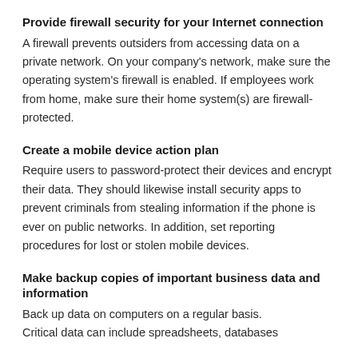Provide firewall security for your Internet connection
A firewall prevents outsiders from accessing data on a private network. On your company’s network, make sure the operating system’s firewall is enabled. If employees work from home, make sure their home system(s) are firewall-protected.
Create a mobile device action plan
Require users to password-protect their devices and encrypt their data. They should likewise install security apps to prevent criminals from stealing information if the phone is ever on public networks. In addition, set reporting procedures for lost or stolen mobile devices.
Make backup copies of important business data and information
Back up data on computers on a regular basis. Critical data can include spreadsheets, databases